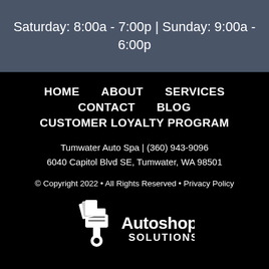Saturday: 8:00a - 7:00p | Sunday: 9:00a - 6:00p
HOME
ABOUT
SERVICES
CONTACT
BLOG
CUSTOMER LOYALTY PROGRAM
Tumwater Auto Spa | (360) 943-9096
6040 Capitol Blvd SE, Tumwater, WA 98501
© Copyright 2022 • All Rights Reserved • Privacy Policy
[Figure (logo): Autoshop Solutions logo with piston icon]